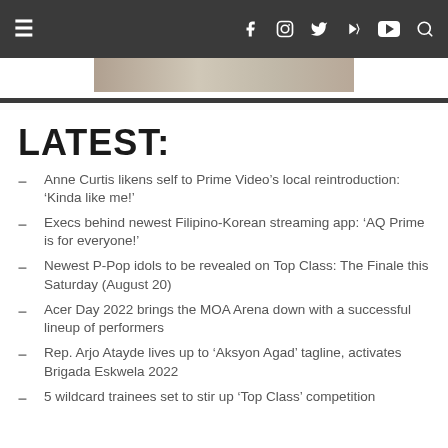Navigation bar with hamburger menu and social icons: Facebook, Instagram, Twitter, Vimeo, YouTube, Search
[Figure (photo): Partial hero/banner image visible at top]
LATEST:
Anne Curtis likens self to Prime Video’s local reintroduction: ‘Kinda like me!’
Execs behind newest Filipino-Korean streaming app: ‘AQ Prime is for everyone!’
Newest P-Pop idols to be revealed on Top Class: The Finale this Saturday (August 20)
Acer Day 2022 brings the MOA Arena down with a successful lineup of performers
Rep. Arjo Atayde lives up to ‘Aksyon Agad’ tagline, activates Brigada Eskwela 2022
5 wildcard trainees set to stir up ‘Top Class’ competition